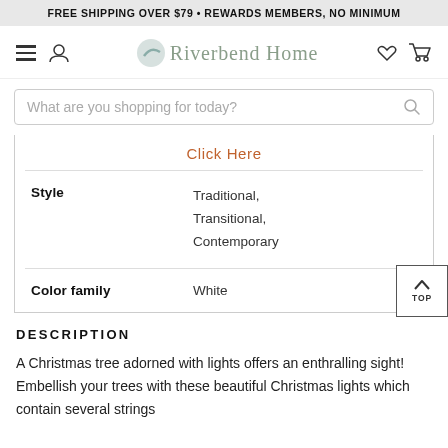FREE SHIPPING OVER $79 • REWARDS MEMBERS, NO MINIMUM
[Figure (logo): Riverbend Home logo with navigation icons (hamburger menu, user, heart, cart)]
What are you shopping for today?
Click Here
| Attribute | Value |
| --- | --- |
| Style | Traditional, Transitional, Contemporary |
| Color family | White |
DESCRIPTION
A Christmas tree adorned with lights offers an enthralling sight! Embellish your trees with these beautiful Christmas lights which contain several strings